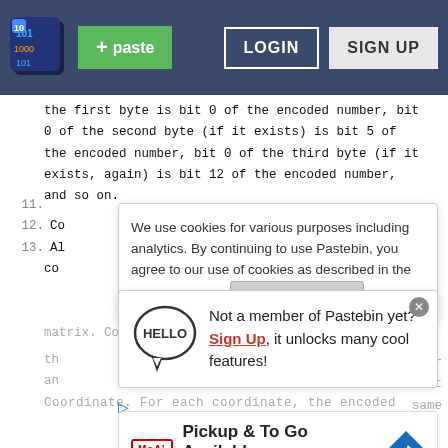Pastebin navigation bar with logo, + paste button, LOGIN and SIGN UP buttons
the first byte is bit 0 of the encoded number, bit 0 of the second byte (if it exists) is bit 5 of the encoded number, bit 0 of the third byte (if it exists, again) is bit 12 of the encoded number, and so on.
11.
12. Co
13. Al
    co
matrix. Coordinates are specified as two numbers
th
an
Coordinate. For each coordinate, the encoded
[Figure (screenshot): Cookie consent banner: 'We use cookies for various purposes including analytics. By continuing to use Pastebin, you agree to our use of cookies as described in the Cookies Policy. OK, I Understand']
[Figure (infographic): Hello speech bubble with sign-up prompt: 'Not a member of Pastebin yet? Sign Up, it unlocks many cool features!']
[Figure (screenshot): McAlister's Deli ad banner: 'Pickup & To Go Available']
or
urrent
same